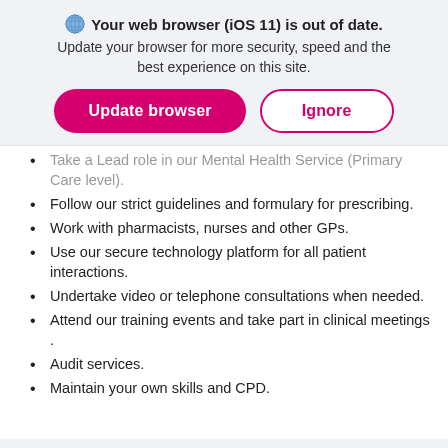[Figure (screenshot): Browser update notification banner with globe icon, bold title 'Your web browser (iOS 11) is out of date.', subtitle text, and two buttons: 'Update browser' (pink filled) and 'Ignore' (pink outlined)]
Take a Lead role in our Mental Health Service (Primary Care level).
Follow our strict guidelines and formulary for prescribing.
Work with pharmacists, nurses and other GPs.
Use our secure technology platform for all patient interactions.
Undertake video or telephone consultations when needed.
Attend our training events and take part in clinical meetings .
Audit services.
Maintain your own skills and CPD.